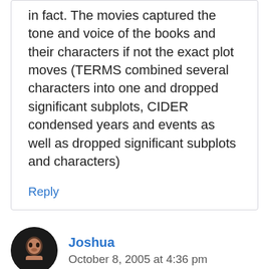in fact. The movies captured the tone and voice of the books and their characters if not the exact plot moves (TERMS combined several characters into one and dropped significant subplots, CIDER condensed years and events as well as dropped significant subplots and characters)
Reply
Joshua
October 8, 2005 at 4:36 pm